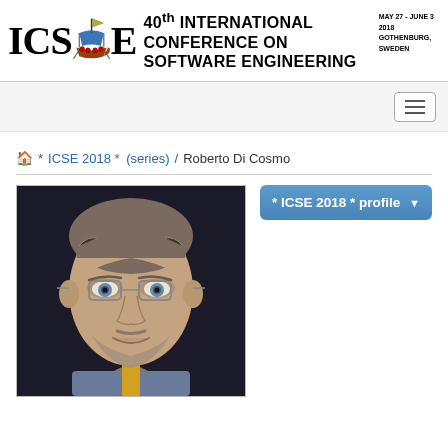ICSE 40° INTERNATIONAL CONFERENCE ON SOFTWARE ENGINEERING MAY 27 - JUNE 3 2018 GOTHENBURG, SWEDEN
🏠 * ICSE 2018 * (series) / Roberto Di Cosmo
[Figure (photo): Headshot portrait of Roberto Di Cosmo, a middle-aged man with glasses, graying hair, and a beard, wearing a collared shirt with a tie, photographed against a dark background.]